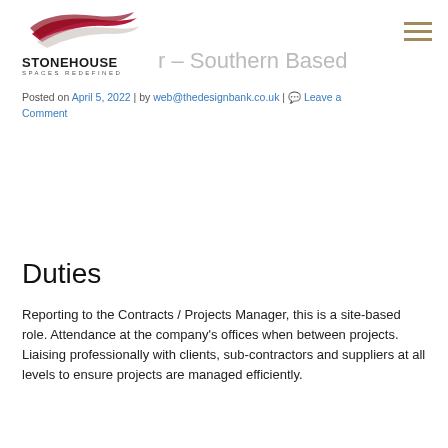[Figure (logo): Stonehouse Spaces Redefined logo with red swoosh graphic and bold STONEHOUSE text with SPACES REDEFINED subtitle]
r – Southern Based
Posted on April 5, 2022 | by web@thedesignbank.co.uk | Leave a Comment
Duties
Reporting to the Contracts / Projects Manager, this is a site-based role. Attendance at the company's offices when between projects.
Liaising professionally with clients, sub-contractors and suppliers at all levels to ensure projects are managed efficiently.